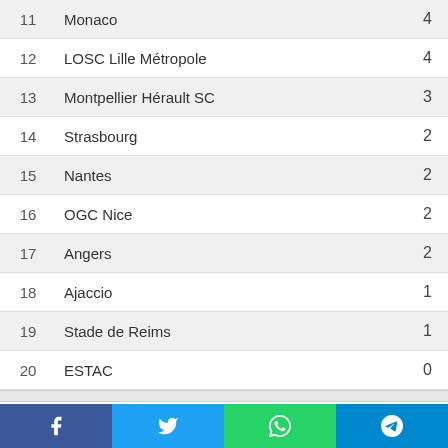| # | Team | Pts |
| --- | --- | --- |
| 11 | Monaco | 4 |
| 12 | LOSC Lille Métropole | 4 |
| 13 | Montpellier Hérault SC | 3 |
| 14 | Strasbourg | 2 |
| 15 | Nantes | 2 |
| 16 | OGC Nice | 2 |
| 17 | Angers | 2 |
| 18 | Ajaccio | 1 |
| 19 | Stade de Reims | 1 |
| 20 | ESTAC | 0 |
Recent
Manchester United Vs Liverpool LIVE STREAM (EPL)
1 hour ago